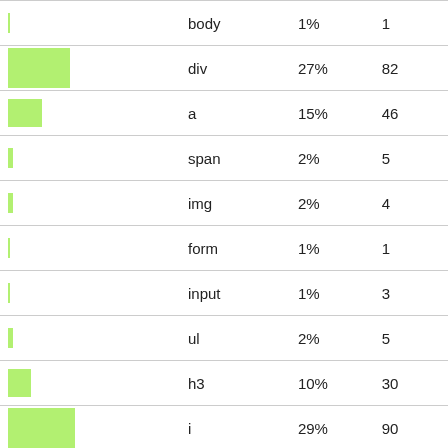| (bar) | tag | percent | count |
| --- | --- | --- | --- |
|  | body | 1% | 1 |
|  | div | 27% | 82 |
|  | a | 15% | 46 |
|  | span | 2% | 5 |
|  | img | 2% | 4 |
|  | form | 1% | 1 |
|  | input | 1% | 3 |
|  | ul | 2% | 5 |
|  | h3 | 10% | 30 |
|  | i | 29% | 90 |
|  | b | 9% | 26 |
|  | script | 1% | 3 |